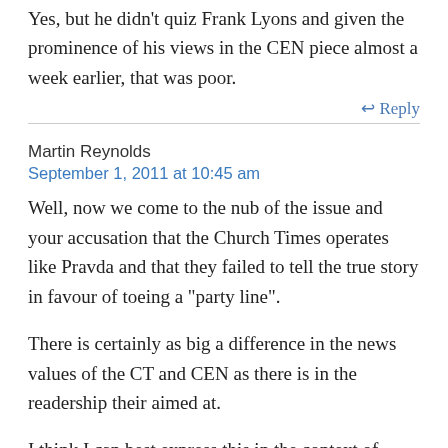Yes, but he didn't quiz Frank Lyons and given the prominence of his views in the CEN piece almost a week earlier, that was poor.
↩ Reply
Martin Reynolds
September 1, 2011 at 10:45 am
Well, now we come to the nub of the issue and your accusation that the Church Times operates like Pravda and that they failed to tell the true story in favour of toeing a "party line".
There is certainly as big a difference in the news values of the CT and CEN as there is in the readership their aimed at.
I think I can best express this in the context of